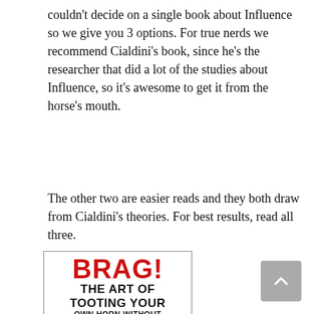couldn't decide on a single book about Influence so we give you 3 options. For true nerds we recommend Cialdini's book, since he's the researcher that did a lot of the studies about Influence, so it's awesome to get it from the horse's mouth.
The other two are easier reads and they both draw from Cialdini's theories. For best results, read all three.
[Figure (illustration): Book cover for 'BRAG! The Art of Tooting Your Own Horn Without Blowing It' with red title text and black subtitle text, featuring a horn graphic at the bottom]